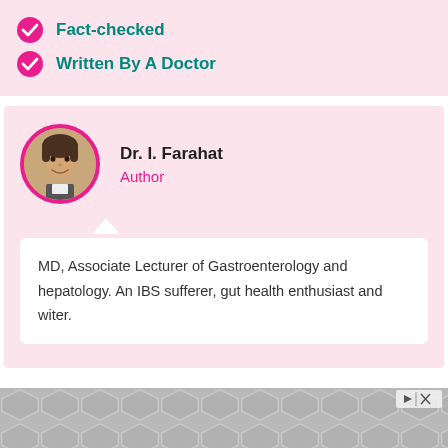Fact-checked
Written By A Doctor
Dr. I. Farahat
Author
MD, Associate Lecturer of Gastroenterology and hepatology. An IBS sufferer, gut health enthusiast and witer.
[Figure (other): Advertisement banner with geometric hexagonal pattern in grey tones]